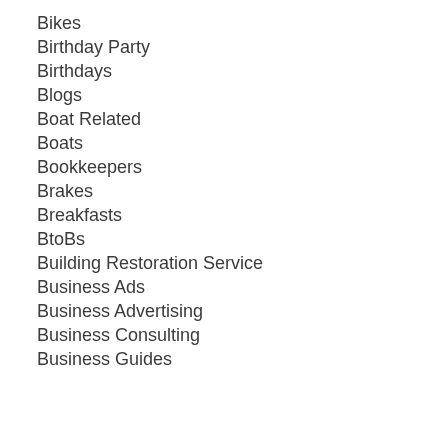Bikes
Birthday Party
Birthdays
Blogs
Boat Related
Boats
Bookkeepers
Brakes
Breakfasts
BtoBs
Building Restoration Service
Business Ads
Business Advertising
Business Consulting
Business Guides